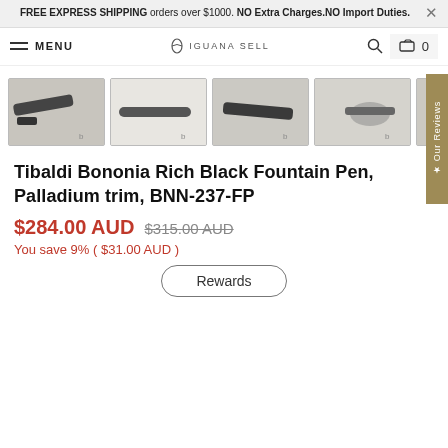FREE EXPRESS SHIPPING orders over $1000. NO Extra Charges.NO Import Duties.
MENU | IGUANA SELL | 0
[Figure (photo): Four thumbnail photos of a Tibaldi Bononia Rich Black Fountain Pen from different angles, plus a partial fifth thumbnail]
Tibaldi Bononia Rich Black Fountain Pen, Palladium trim, BNN-237-FP
$284.00 AUD $315.00 AUD
You save 9% ( $31.00 AUD )
Rewards